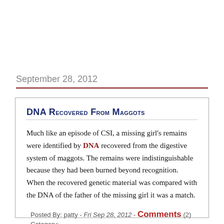September 28, 2012
DNA Recovered From Maggots
Much like an episode of CSI, a missing girl's remains were identified by DNA recovered from the digestive system of maggots. The remains were indistinguishable because they had been burned beyond recognition. When the recovered genetic material was compared with the DNA of the father of the missing girl it was a match.
Posted By: patty - Fri Sep 28, 2012 - Comments (2) Category: